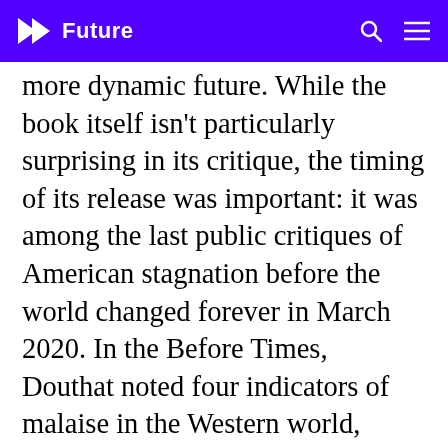Future
more dynamic future. While the book itself isn't particularly surprising in its critique, the timing of its release was important: it was among the last public critiques of American stagnation before the world changed forever in March 2020. In the Before Times, Douthat noted four indicators of malaise in the Western world, some of which were magnified during the pandemic: institutional failure and loss of civic trust; economic and technological stagnation; declining birth rates and sterility; and mimetic, derivative culture. By April, many seemed hopeful that